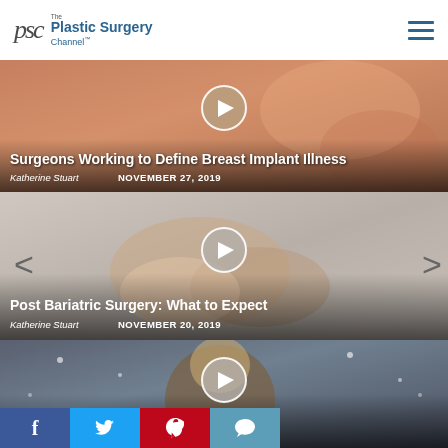PSC The Plastic Surgery Channel
[Figure (photo): Video thumbnail showing skin/body area with play button overlay. Title: Surgeons Working to Define Breast Implant Illness. Author: Katherine Stuart. Date: NOVEMBER 27, 2019]
[Figure (photo): Video thumbnail showing hands with play button overlay and navigation arrows. Title: Post Bariatric Surgery: What to Expect. Author: Katherine Stuart. Date: NOVEMBER 20, 2019]
[Figure (photo): Video thumbnail showing person in winter coat looking up with play button overlay. Title: Planning Plastic Surgery by the Season. Author: Katherine Stuart. Date partially visible.]
Facebook Twitter Pinterest Comment social share bar